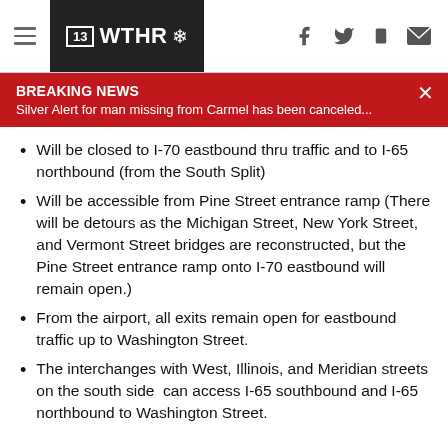13 WTHR
BREAKING NEWS
Silver Alert for man missing from Carmel has been canceled...
Will be closed to I-70 eastbound thru traffic and to I-65 northbound (from the South Split)
Will be accessible from Pine Street entrance ramp (There will be detours as the Michigan Street, New York Street, and Vermont Street bridges are reconstructed, but the Pine Street entrance ramp onto I-70 eastbound will remain open.)
From the airport, all exits remain open for eastbound traffic up to Washington Street.
The interchanges with West, Illinois, and Meridian streets on the south side  can access I-65 southbound and I-65 northbound to Washington Street.